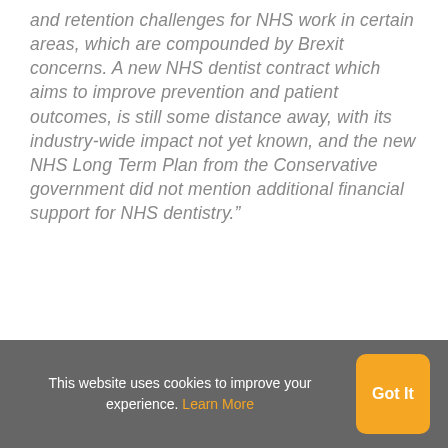and retention challenges for NHS work in certain areas, which are compounded by Brexit concerns. A new NHS dentist contract which aims to improve prevention and patient outcomes, is still some distance away, with its industry-wide impact not yet known, and the new NHS Long Term Plan from the Conservative government did not mention additional financial support for NHS dentistry."
This website uses cookies to improve your experience. Learn More